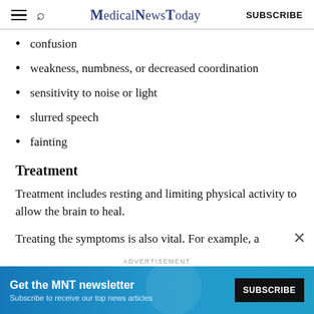MedicalNewsToday | SUBSCRIBE
confusion
weakness, numbness, or decreased coordination
sensitivity to noise or light
slurred speech
fainting
Treatment
Treatment includes resting and limiting physical activity to allow the brain to heal.
Treating the symptoms is also vital. For example, a
[Figure (infographic): Advertisement banner for MNT newsletter: 'Get the MNT newsletter - Subscribe to receive our top news articles' with a SUBSCRIBE button on dark background.]